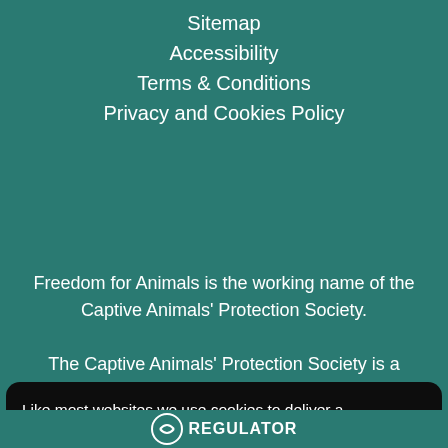Sitemap
Accessibility
Terms & Conditions
Privacy and Cookies Policy
Freedom for Animals is the working name of the Captive Animals' Protection Society.
The Captive Animals' Protection Society is a registered charity, no. 1124436, and a company,
Like most websites we use cookies to deliver a personalised service. To use the website as intended please accept cookies.
Accept Cookies
REGULATOR